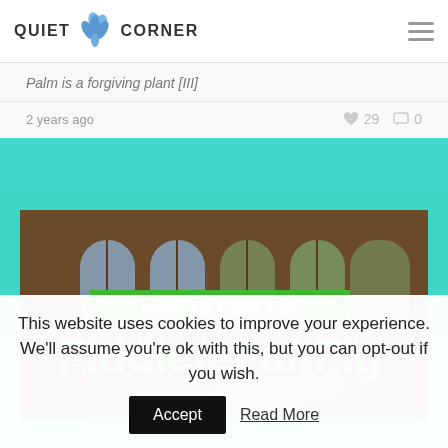QUIET CORNER
Palm is a forgiving plant [III]
2 years ago   ♥ 29  💬 0
[Figure (photo): How To Care For Fiddle Leaf Fig — decorative article thumbnail with green text overlay on an indoor plant photograph]
This website uses cookies to improve your experience. We'll assume you're ok with this, but you can opt-out if you wish.
Accept   Read More